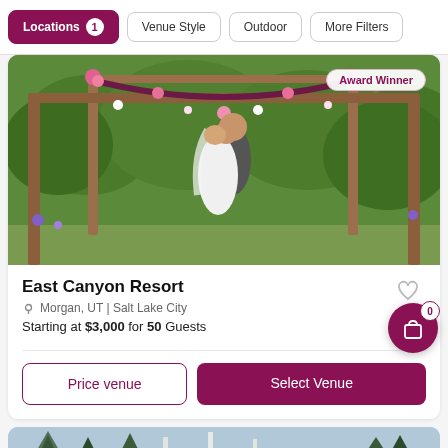Locations 1 | Venue Style | Outdoor | More Filters
[Figure (photo): Wedding couple kissing under a wooden arbor decorated with pink and white flowers, with green lush trees in the background. Award Winner badge visible in top right corner.]
East Canyon Resort
Morgan, UT | Salt Lake City
Starting at $3,000 for 50 Guests
Price venue
Select Venue
[Figure (photo): Partial view of a winter/snowy landscape with pine trees, peeking from bottom of page as next venue card.]